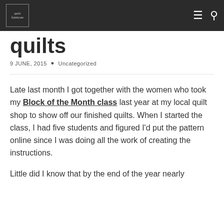quilts
9 JUNE, 2015 • Uncategorized
Late last month I got together with the women who took my Block of the Month class last year at my local quilt shop to show off our finished quilts. When I started the class, I had five students and figured I'd put the pattern online since I was doing all the work of creating the instructions.
Little did I know that by the end of the year nearly